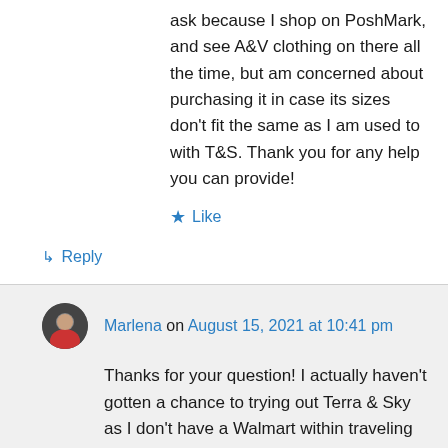ask because I shop on PoshMark, and see A&V clothing on there all the time, but am concerned about purchasing it in case its sizes don't fit the same as I am used to with T&S. Thank you for any help you can provide!
★ Like
↳ Reply
Marlena on August 15, 2021 at 10:41 pm
Thanks for your question! I actually haven't gotten a chance to trying out Terra & Sky as I don't have a Walmart within traveling distance from where I live and I prefer to shop in person rather than online. That being said, I have noticed that Ava & Viv